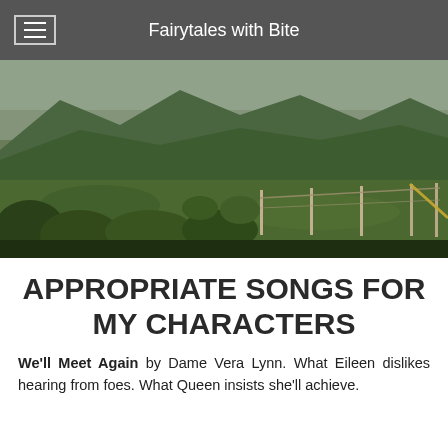Fairytales with Bite
[Figure (photo): Landscape photo of green rolling hills and mountains in the background, with a grassy meadow, bushes, and wooden fence posts in the foreground under an overcast sky.]
APPROPRIATE SONGS FOR MY CHARACTERS
We'll Meet Again by Dame Vera Lynn. What Eileen dislikes hearing from foes. What Queen insists she'll achieve.